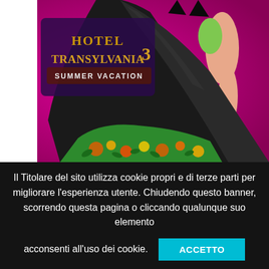[Figure (illustration): Hotel Transylvania 3: Summer Vacation movie poster. A cartoon vampire character (seen from behind) wearing a black cape draped over tropical Hawaiian shorts, against a bright magenta/pink background. The movie logo 'Hotel Transylvania 3 Summer Vacation' appears in the upper left in stylized gold lettering on a dark purple banner.]
Il Titolare del sito utilizza cookie propri e di terze parti per migliorare l'esperienza utente. Chiudendo questo banner, scorrendo questa pagina o cliccando qualunque suo elemento acconsenti all'uso dei cookie.
ACCETTO